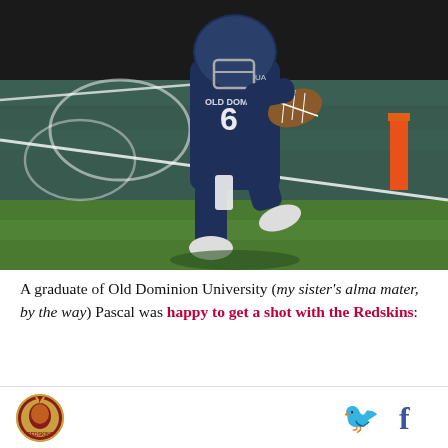[Figure (photo): A football player wearing a navy blue Old Dominion University #6 jersey and helmet carrying a football near the end zone pylon on a green turf field.]
A graduate of Old Dominion University (my sister's alma mater, by the way) Pascal was happy to get a shot with the Redskins:
[Figure (logo): Washington Redskins logo icon (circular with helmet graphic) and social media icons for Twitter and Facebook]